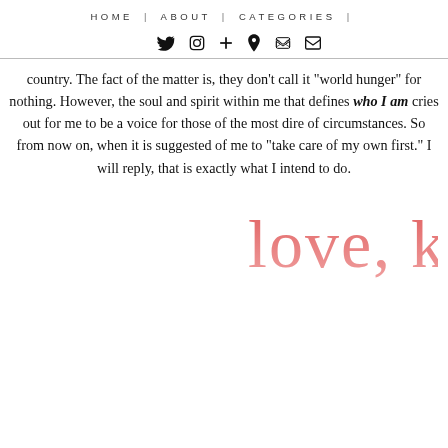HOME | ABOUT | CATEGORIES |
[Figure (other): Row of social media icons: Twitter bird, Instagram camera, cross/plus, Pinterest P, bookmarks, envelope/email]
country. The fact of the matter is, they don't call it "world hunger" for nothing. However, the soul and spirit within me that defines who I am cries out for me to be a voice for those of the most dire of circumstances. So from now on, when it is suggested of me to "take care of my own first." I will reply, that is exactly what I intend to do.
[Figure (illustration): Handwritten cursive signature reading 'love, k' in a coral/pink gradient color]